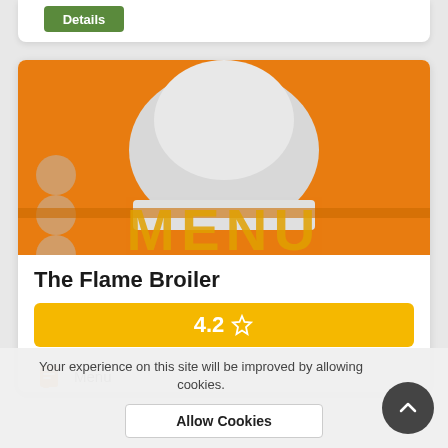[Figure (screenshot): Restaurant app screenshot showing The Flame Broiler listing with orange menu-themed image, rating bar, and location info]
The Flame Broiler
4.2 ☆
Menu
City: Flagstaff, 1800 S Milton Rd Flagst...
The average rating of this restaurant is
Your experience on this site will be improved by allowing cookies.
Allow Cookies